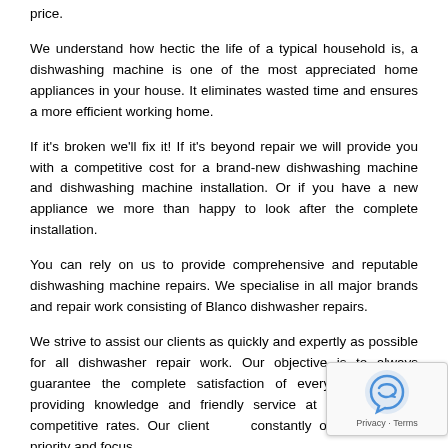price.
We understand how hectic the life of a typical household is, a dishwashing machine is one of the most appreciated home appliances in your house. It eliminates wasted time and ensures a more efficient working home.
If it's broken we'll fix it! If it's beyond repair we will provide you with a competitive cost for a brand-new dishwashing machine and dishwashing machine installation. Or if you have a new appliance we more than happy to look after the complete installation.
You can rely on us to provide comprehensive and reputable dishwashing machine repairs. We specialise in all major brands and repair work consisting of Blanco dishwasher repairs.
We strive to assist our clients as quickly and expertly as possible for all dishwasher repair work. Our objective is to always guarantee the complete satisfaction of every client, while providing knowledge and friendly service at affordable and competitive rates. Our clients are constantly our primary top priority and focus.
So, if you've noticed that either: